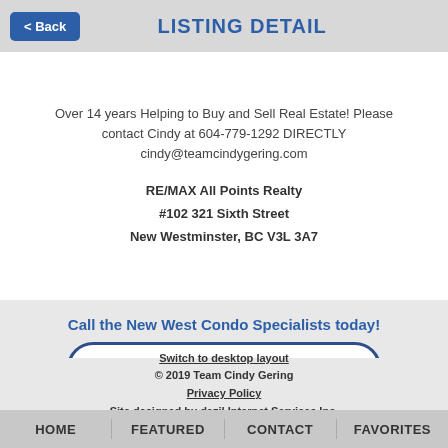< Back   LISTING DETAIL
Over 14 years Helping to Buy and Sell Real Estate! Please contact Cindy at 604-779-1292 DIRECTLY cindy@teamcindygering.com
RE/MAX All Points Realty
#102 321 Sixth Street
New Westminster, BC V3L 3A7
Call the New West Condo Specialists today!
604 779 1292
Switch to desktop layout
© 2019 Team Cindy Gering
Privacy Policy
Site designed by dazil Internet Services Inc.
HOME   FEATURED   CONTACT   FAVORITES